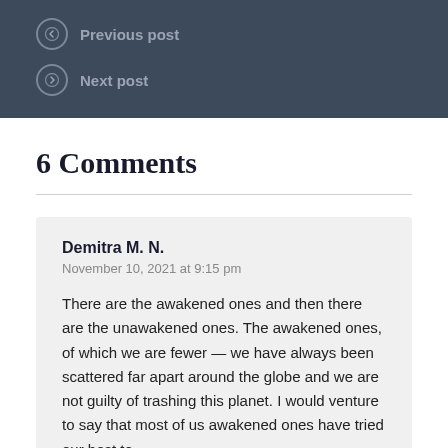Previous post
Next post
6 Comments
Demitra M. N.
November 10, 2021 at 9:15 pm

There are the awakened ones and then there are the unawakened ones. The awakened ones, of which we are fewer — we have always been scattered far apart around the globe and we are not guilty of trashing this planet. I would venture to say that most of us awakened ones have tried our best to